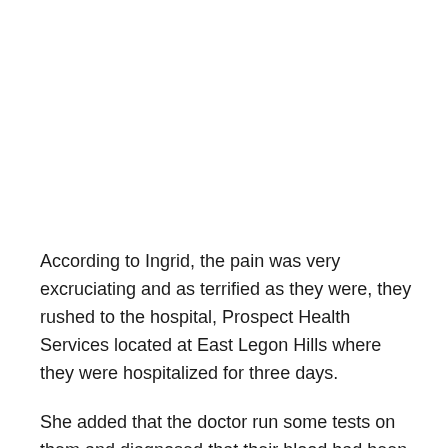According to Ingrid, the pain was very excruciating and as terrified as they were, they rushed to the hospital, Prospect Health Services located at East Legon Hills where they were hospitalized for three days.
She added that the doctor run some tests on them and diagnosed that their blood had been contaminated with bacteria and other poisonous elements and it is as a result